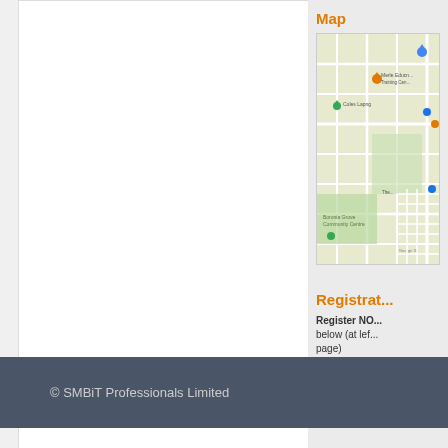Map
[Figure (map): Google Maps view showing local area with street grid, pins for Merle Education and Training Centre, Coles Lapng, Boronia Grove Community Centre, and other local landmarks]
Registrat...
Register NO... below (at lef... page)
© SMBiT Professionals Limited